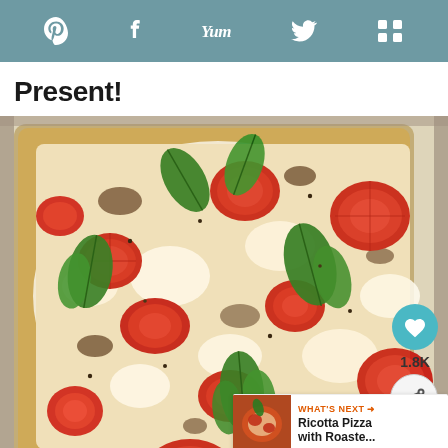Social share icons: Pinterest, Facebook, Yummly, Twitter, Mix
Present!
[Figure (photo): Overhead close-up photo of a rectangular sheet pan pizza topped with sliced tomatoes, fresh mozzarella, basil leaves, and black pepper seasoning. A heart/save button showing 1.8K and a share button overlay the right side. A 'What's Next' banner shows a thumbnail and text 'Ricotta Pizza with Roaste...']